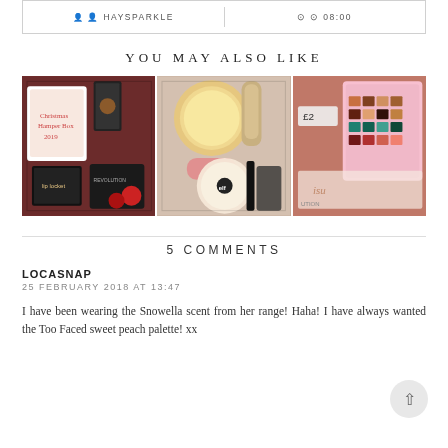HAYSPARKLE | 08:00
YOU MAY ALSO LIKE
[Figure (photo): Three side-by-side beauty/makeup flat-lay photos showing Christmas hamper boxes, makeup products including highlighter, foundation, eyeliner, and eyeshadow palettes.]
5 COMMENTS
LOCASNAP
25 FEBRUARY 2018 AT 13:47
I have been wearing the Snowella scent from her range! Haha! I have always wanted the Too Faced sweet peach palette! xx